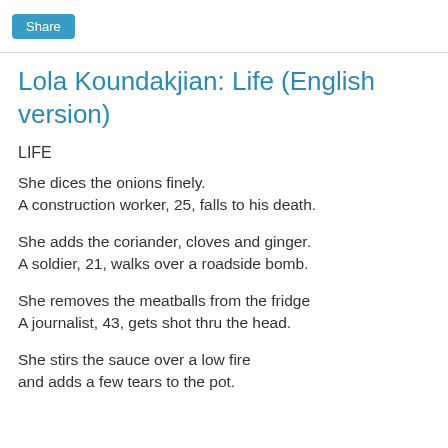Share
Lola Koundakjian: Life (English version)
LIFE
She dices the onions finely.
A construction worker, 25, falls to his death.
She adds the coriander, cloves and ginger.
A soldier, 21, walks over a roadside bomb.
She removes the meatballs from the fridge
A journalist, 43, gets shot thru the head.
She stirs the sauce over a low fire
and adds a few tears to the pot.